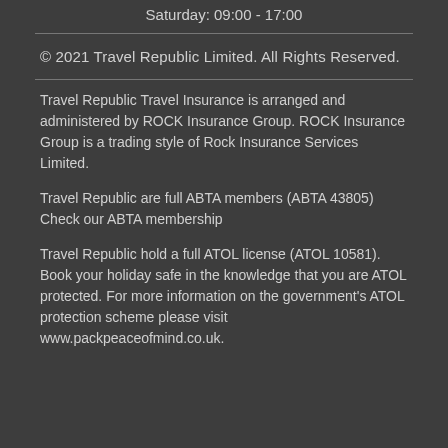Saturday: 09:00 - 17:00
© 2021 Travel Republic Limited. All Rights Reserved.
Travel Republic Travel Insurance is arranged and administered by ROCK Insurance Group. ROCK Insurance Group is a trading style of Rock Insurance Services Limited.
Travel Republic are full ABTA members (ABTA 43805) Check our ABTA membership
Travel Republic hold a full ATOL license (ATOL 10581). Book your holiday safe in the knowledge that you are ATOL protected. For more information on the government's ATOL protection scheme please visit www.packpeaceofmind.co.uk.